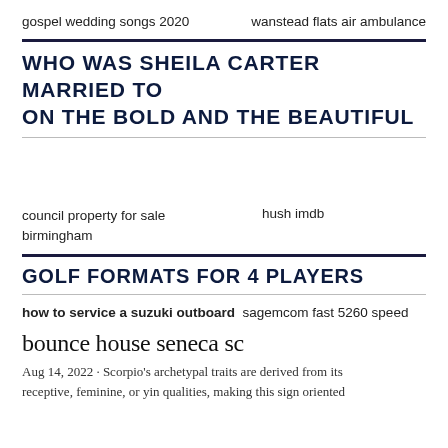gospel wedding songs 2020    wanstead flats air ambulance
WHO WAS SHEILA CARTER MARRIED TO ON THE BOLD AND THE BEAUTIFUL
council property for sale birmingham    hush imdb
GOLF FORMATS FOR 4 PLAYERS
how to service a suzuki outboard   sagemcom fast 5260 speed
bounce house seneca sc
Aug 14, 2022 · Scorpio's archetypal traits are derived from its receptive, feminine, or yin qualities, making this sign oriented